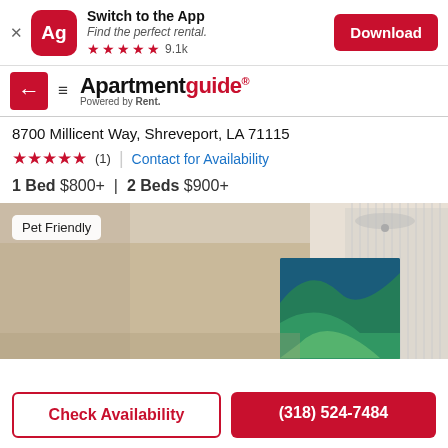[Figure (screenshot): App banner with Ag icon, 'Switch to the App', 'Find the perfect rental.', 5 red stars, 9.1k rating, and Download button]
[Figure (logo): Apartmentguide logo with 'Powered by Rent.' tagline]
8700 Millicent Way, Shreveport, LA 71115
★★★★★ (1) | Contact for Availability
1 Bed $800+ | 2 Beds $900+
[Figure (photo): Interior apartment room photo with colorful artwork and ceiling fan, tagged 'Pet Friendly']
Check Availability
(318) 524-7484